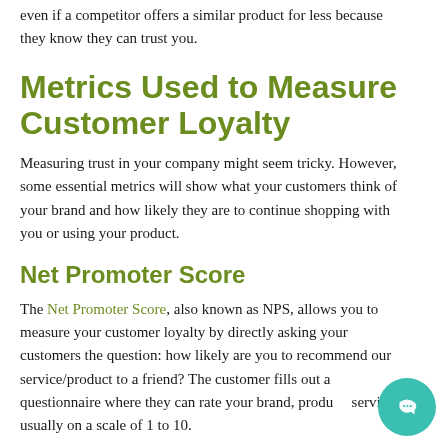even if a competitor offers a similar product for less because they know they can trust you.
Metrics Used to Measure Customer Loyalty
Measuring trust in your company might seem tricky. However, some essential metrics will show what your customers think of your brand and how likely they are to continue shopping with you or using your product.
Net Promoter Score
The Net Promoter Score, also known as NPS, allows you to measure your customer loyalty by directly asking your customers the question: how likely are you to recommend our service/product to a friend? The customer fills out a questionnaire where they can rate your brand, product, service, usually on a scale of 1 to 10.